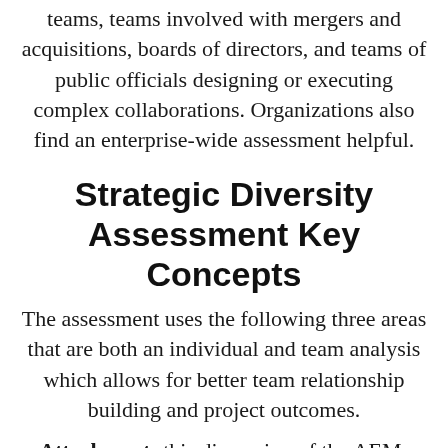teams, teams involved with mergers and acquisitions, boards of directors, and teams of public officials designing or executing complex collaborations. Organizations also find an enterprise-wide assessment helpful.
Strategic Diversity Assessment Key Concepts
The assessment uses the following three areas that are both an individual and team analysis which allows for better team relationship building and project outcomes.
Attachment: this dimension of the AEM-